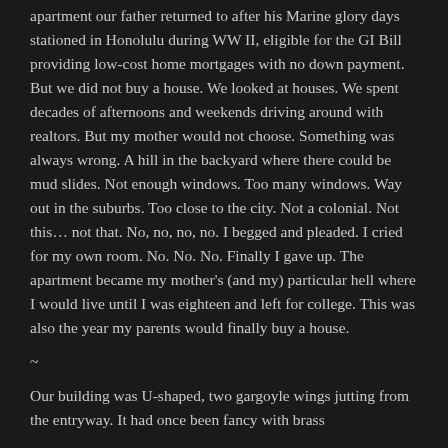apartment our father returned to after his Marine glory days stationed in Honolulu during WW II, eligible for the GI Bill providing low-cost home mortgages with no down payment. But we did not buy a house. We looked at houses. We spent decades of afternoons and weekends driving around with realtors. But my mother would not choose. Something was always wrong. A hill in the backyard where there could be mud slides. Not enough windows. Too many windows. Way out in the suburbs. Too close to the city. Not a colonial. Not this… not that. No, no, no, no. I begged and pleaded. I cried for my own room. No. No. No. Finally I gave up. The apartment became my mother's (and my) particular hell where I would live until I was eighteen and left for college. This was also the year my parents would finally buy a house.
~
Our building was U-shaped, two gargoyle wings jutting from the entryway. It had once been fancy with brass